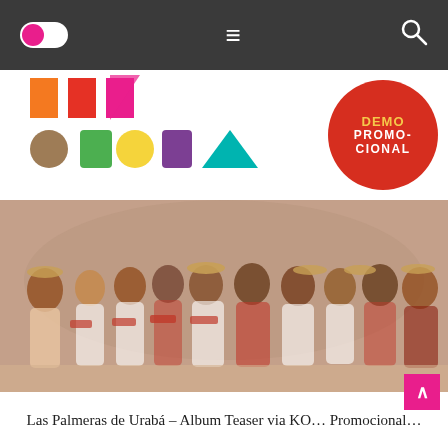Navigation bar with toggle switch, hamburger menu, and search icon
[Figure (logo): Colorful geometric logo spelling 'DE URABA' in multicolored letters with geometric shapes. Red circle badge on right with text 'DEMO PROMOCIONAL' in yellow and white.]
[Figure (photo): Group photo of Las Palmeras de Urabá, a Colombian folk music and dance group, dressed in traditional white and red costumes with straw hats, posed outdoors.]
Las Palmeras de Urabá – Album Teaser via KO... Promocional...